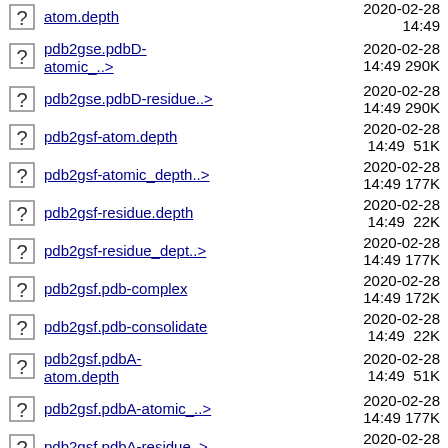atom.depth  2020-02-28 14:49
pdb2gse.pdbD-atomic_..>  2020-02-28 14:49  290K
pdb2gse.pdbD-residue..>  2020-02-28 14:49  290K
pdb2gsf-atom.depth  2020-02-28 14:49  51K
pdb2gsf-atomic_depth..>  2020-02-28 14:49  177K
pdb2gsf-residue.depth  2020-02-28 14:49  22K
pdb2gsf-residue_dept..>  2020-02-28 14:49  177K
pdb2gsf.pdb-complex  2020-02-28 14:49  172K
pdb2gsf.pdb-consolidate  2020-02-28 14:49  22K
pdb2gsf.pdbA-atom.depth  2020-02-28 14:49  51K
pdb2gsf.pdbA-atomic_..>  2020-02-28 14:49  177K
pdb2gsf.pdbA-residue..>  2020-02-28 14:49  177K